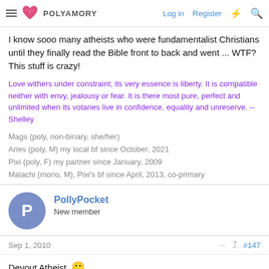POLYAMORY | Log in | Register
I know sooo many atheists who were fundamentalist Christians until they finally read the Bible front to back and went ... WTF? This stuff is crazy!
Love withers under constraint; its very essence is liberty. It is compatible neither with envy, jealousy or fear. It is there most pure, perfect and unlimited when its votaries live in confidence, equality and unreserve. -- Shelley
Mags (poly, non-binary, she/her)
Aries (poly, M) my local bf since October, 2021
Pixi (poly, F) my partner since January, 2009
Malachi (mono, M), Pixi's bf since April, 2013, co-primary
PollyPocket
New member
Sep 1, 2010
#147
Devout Atheist. 🙂
We are all in the gutter, but some of us are looking at the stars. 🙂 -- Oscar